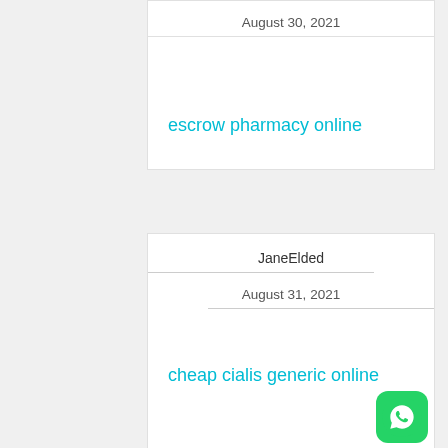August 30, 2021
escrow pharmacy online
JaneElded
August 31, 2021
cheap cialis generic online